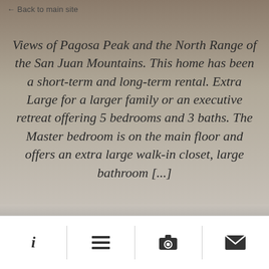← Back to main site
Views of Pagosa Peak and the North Range of the San Juan Mountains. This home has been a short-term and long-term rental. Extra Large for a larger family or an executive retreat offering 5 bedrooms and 3 baths. The Master bedroom is on the main floor and offers an extra large walk-in closet, large bathroom [...]
info | list | camera | mail icons